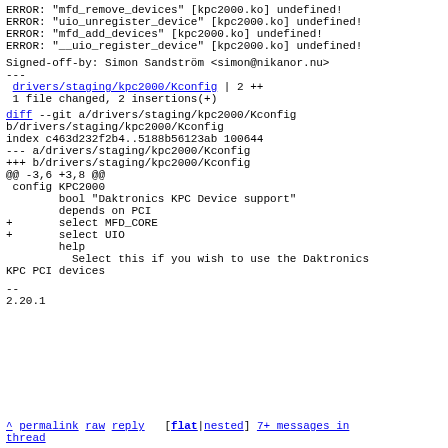ERROR: "mfd_remove_devices" [kpc2000.ko] undefined!
ERROR: "uio_unregister_device" [kpc2000.ko] undefined!
ERROR: "mfd_add_devices" [kpc2000.ko] undefined!
ERROR: "__uio_register_device" [kpc2000.ko] undefined!
Signed-off-by: Simon Sandström <simon@nikanor.nu>
---
 drivers/staging/kpc2000/Kconfig | 2 ++
 1 file changed, 2 insertions(+)
diff --git a/drivers/staging/kpc2000/Kconfig b/drivers/staging/kpc2000/Kconfig
index c463d232f2b4..5188b56123ab 100644
--- a/drivers/staging/kpc2000/Kconfig
+++ b/drivers/staging/kpc2000/Kconfig
@@ -3,6 +3,8 @@
 config KPC2000
		bool "Daktronics KPC Device support"
		depends on PCI
+		select MFD_CORE
+		select UIO
		help
		  Select this if you wish to use the Daktronics KPC PCI devices
--
2.20.1
^ permalink raw reply   [flat|nested] 7+ messages in thread